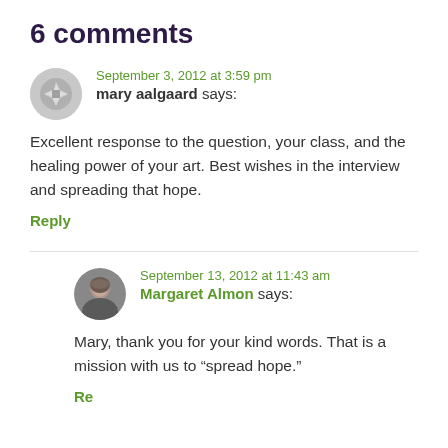6 comments
September 3, 2012 at 3:59 pm
mary aalgaard says:
Excellent response to the question, your class, and the healing power of your art. Best wishes in the interview and spreading that hope.
Reply
September 13, 2012 at 11:43 am
Margaret Almon says:
Mary, thank you for your kind words. That is a mission with us to “spread hope.”
Reply